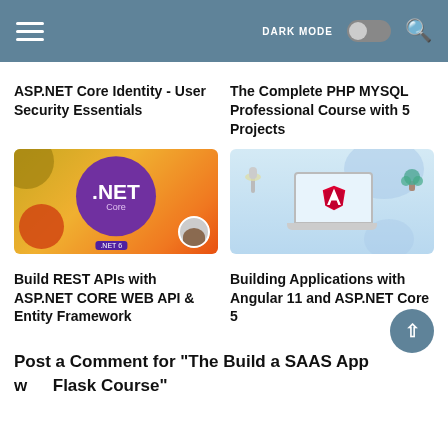DARK MODE
ASP.NET Core Identity - User Security Essentials
The Complete PHP MYSQL Professional Course with 5 Projects
[Figure (illustration): .NET Core course thumbnail: orange/yellow gradient background with purple circle bearing '.NET Core' text and avatar]
[Figure (illustration): Angular course thumbnail: light blue background with laptop showing Angular logo, lamp and plant decorations]
Build REST APIs with ASP.NET CORE WEB API & Entity Framework
Building Applications with Angular 11 and ASP.NET Core 5
Post a Comment for "The Build a SAAS App with Flask Course"